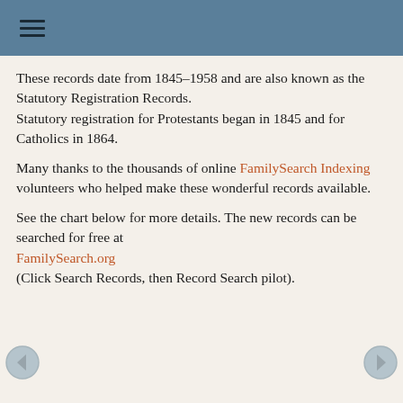≡
These records date from 1845–1958 and are also known as the Statutory Registration Records.
Statutory registration for Protestants began in 1845 and for Catholics in 1864.
Many thanks to the thousands of online FamilySearch Indexing volunteers who helped make these wonderful records available.
See the chart below for more details. The new records can be searched for free at FamilySearch.org
(Click Search Records, then Record Search pilot).